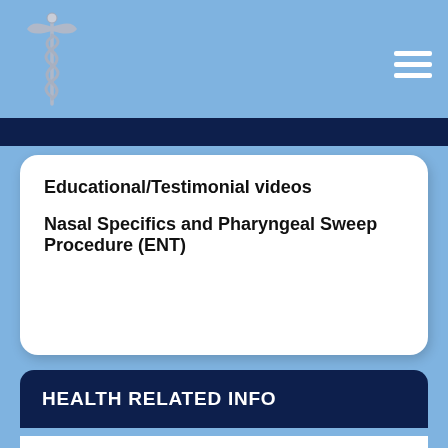[Figure (logo): Medical caduceus logo in silver/grey at top left of header bar]
Educational/Testimonial videos
Nasal Specifics and Pharyngeal Sweep Procedure (ENT)
HEALTH RELATED INFO
Wilmington Clinic Newsletters